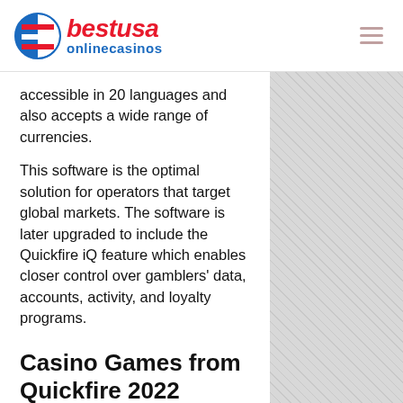bestusa onlinecasinos
accessible in 20 languages and also accepts a wide range of currencies.
This software is the optimal solution for operators that target global markets. The software is later upgraded to include the Quickfire iQ feature which enables closer control over gamblers' data, accounts, activity, and loyalty programs.
Casino Games from Quickfire 2022
The casino games featured on the Quickfire platform are built on Flash and HTML5 technology. New releases